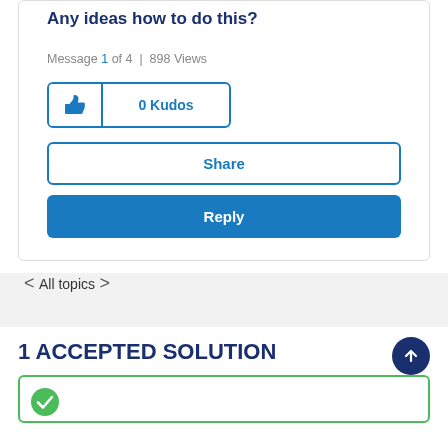Any ideas how to do this?
Message 1 of 4  |  898 Views
0 Kudos
Share
Reply
< All topics >
1 ACCEPTED SOLUTION